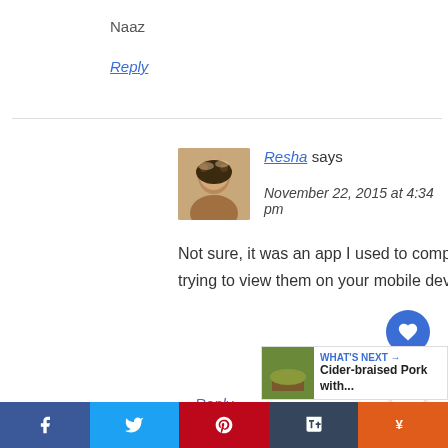Naaz
Reply
Resha says
November 22, 2015 at 4:34 pm
Not sure, it was an app I used to compile them. i can still see them from my desktop, not sure if you're trying to view them on your mobile device but try your computer if it's not working from your phone.
Reply